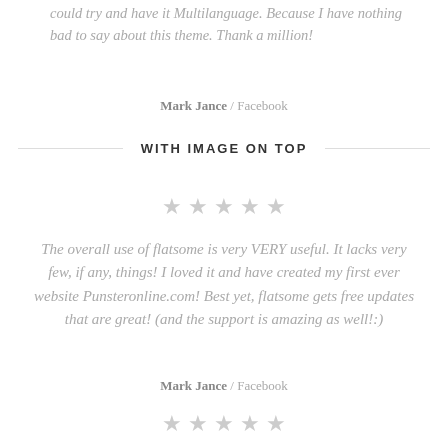could try and have it Multilanguage. Because I have nothing bad to say about this theme. Thank a million!
Mark Jance / Facebook
WITH IMAGE ON TOP
[Figure (illustration): Five gray star rating icons in a row]
The overall use of flatsome is very VERY useful. It lacks very few, if any, things! I loved it and have created my first ever website Punsteronline.com! Best yet, flatsome gets free updates that are great! (and the support is amazing as well!:)
Mark Jance / Facebook
[Figure (illustration): Five gray star rating icons in a row]